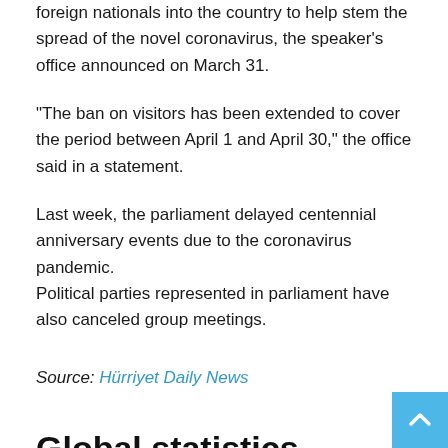foreign nationals into the country to help stem the spread of the novel coronavirus, the speaker's office announced on March 31.
“The ban on visitors has been extended to cover the period between April 1 and April 30,” the office said in a statement.
Last week, the parliament delayed centennial anniversary events due to the coronavirus pandemic.
Political parties represented in parliament have also canceled group meetings.
Source: Hürriyet Daily News
Global statistics
There are now 803,772 confirmed cases of COVID-19 globally, of which 172,435 have recovered. The number of fatalities